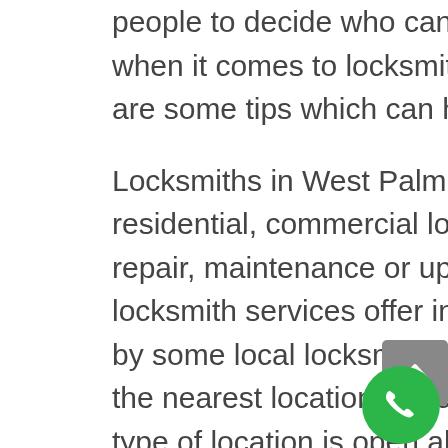people to decide who can provide the best possible service when it comes to locksmithing services for their needs, so here are some tips which can help you in that regard.
Locksmiths in West Palm Beach can handle any sort and type of residential, commercial locksmith needs. Whether it's installation repair, maintenance or updates; just about every aspect locksmith services offer in West Palm Beach, Florida is provided by some local locksmith. Locksmith services can be availed from the nearest location, which is called the 'locksmith shop.' This type of location is open almost throughout the day, which means you can get in touch with them anytime during the day for your car key replacement, car locksmith services, car locksmith emergency or other related needs. If you're looking for an experienced and reliable locksmith all your residential needs in Palm Beach County, then you should consider contacting the best one in